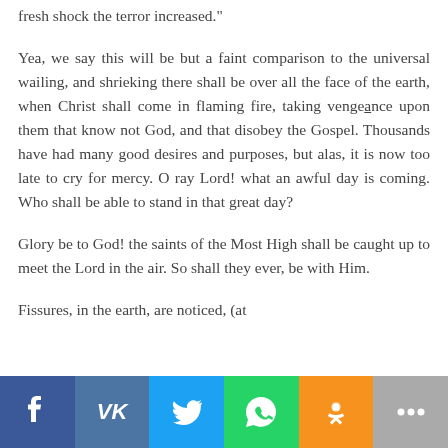fresh shock the terror increased."
Yea, we say this will be but a faint comparison to the universal wailing, and shrieking there shall be over all the face of the earth, when Christ shall come in flaming fire, taking vengeance upon them that know not God, and that disobey the Gospel. Thousands have had many good desires and purposes, but alas, it is now too late to cry for mercy. O ray Lord! what an awful day is coming. Who shall be able to stand in that great day?
Glory be to God! the saints of the Most High shall be caught up to meet the Lord in the air. So shall they ever, be with Him.
Fissures, in the earth, are noticed, (at